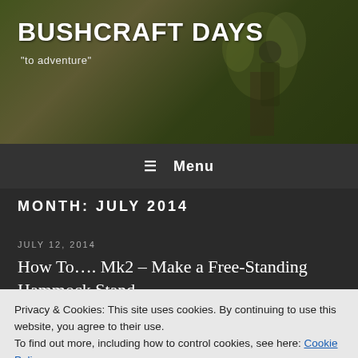BUSHCRAFT DAYS
"to adventure"
☰  Menu
MONTH: JULY 2014
JULY 12, 2014
How To…. Mk2 – Make a Free-Standing Hammock Stand
Privacy & Cookies: This site uses cookies. By continuing to use this website, you agree to their use.
To find out more, including how to control cookies, see here: Cookie Policy
Close and accept
devised a new attachment point at the top of each tripod